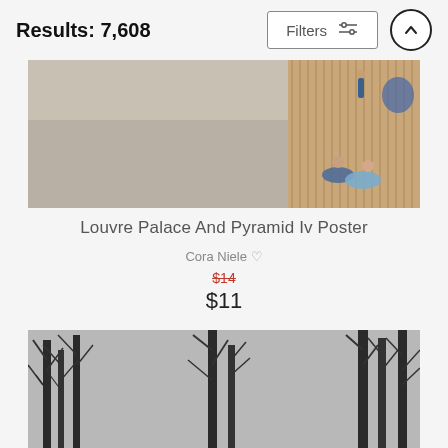Results: 7,608
[Figure (photo): Children playing on a wooden deck/boardwalk outdoors, a public plaza with people in background]
Louvre Palace And Pyramid Iv Poster
Cora Niele
$14  $11
[Figure (photo): Black and white photograph of bare winter trees against an overcast grey sky]